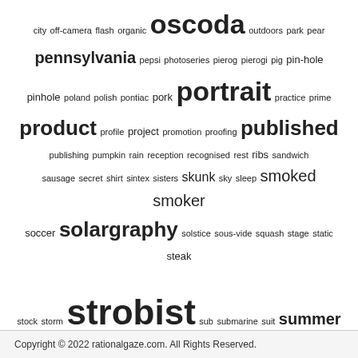city off-camera flash organic oscoda outdoors park pear pennsylvania pepsi photoseries pierog pierogi pig pin-hole pinhole poland polish pontiac pork portrait practice prime product profile project promotion proofing published publishing pumpkin rain reception recognised rest ribs sandwich sausage secret shirt sintex sisters skunk sky sleep smoked smoker soccer solargraphy solstice sous-vide squash stage static steak stock storm strobist sub submarine suit summer sun sunlight sunrise swimming switzerland t2 table tacos tas tattoo thed tongue turbo upgrade urbanrest vacation volkswagen vw water waterfall wedding wfsu wheel wide winter wood woods wordpress workflow yeast zoo
Copyright © 2022 rationalgaze.com. All Rights Reserved.